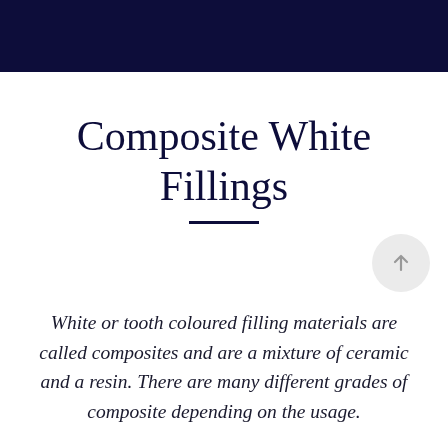Composite White Fillings
White or tooth coloured filling materials are called composites and are a mixture of ceramic and a resin. There are many different grades of composite depending on the usage.